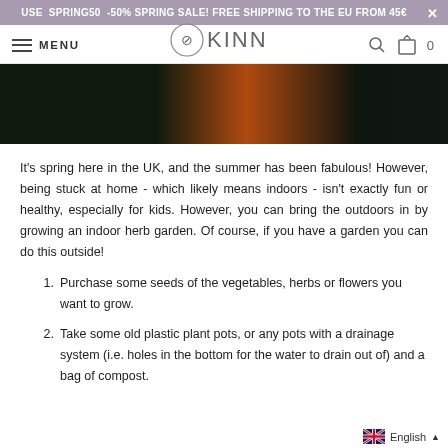USE SPRING50 -50% SPRING SALE! FREE SHIPPING TO THE EU FROM 45€
MENU | KINN | 🔍 | 🛍 0
[Figure (photo): Dark background hero image with orange/brown glowing object in center]
It's spring here in the UK, and the summer has been fabulous! However, being stuck at home - which likely means indoors - isn't exactly fun or healthy, especially for kids. However, you can bring the outdoors in by growing an indoor herb garden. Of course, if you have a garden you can do this outside!
Purchase some seeds of the vegetables, herbs or flowers you want to grow.
Take some old plastic plant pots, or any pots with a drainage system (i.e. holes in the bottom for the water to drain out of) and a bag of compost.
English